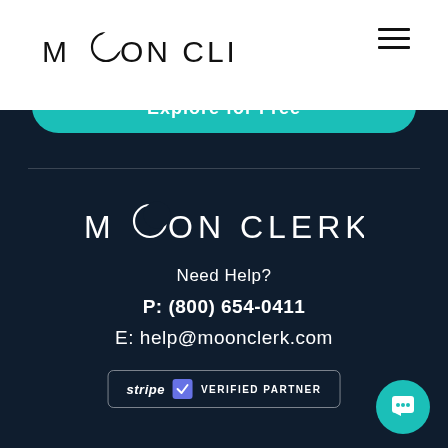MOON CLERK
Explore for Free
[Figure (logo): Moon Clerk logo in white text on dark navy background]
Need Help?
P: (800) 654-0411
E: help@moonclerk.com
[Figure (other): Stripe Verified Partner badge with rounded rectangle border]
[Figure (other): Teal circular chat/support button in bottom-right corner]